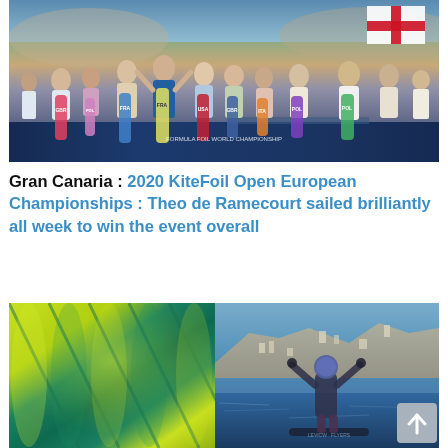[Figure (photo): Group photo of competitors on a podium stage at the 2020 KiteFoil Open European Championships, holding colorful kiteboards. A banner with event branding is visible in the background, along with flags including England's cross of St George.]
Gran Canaria : 2020 KiteFoil Open European Championships : Theo de Ramecourt sailed brilliantly all week to win the event overall
[Figure (photo): Two-part image: left side shows a close-up of a yellow-green and teal kite; right side shows a kitefoil athlete celebrating with arms raised while foiling on the water, with a coastal town visible in the background. A scroll-to-top button appears in the bottom-right corner.]